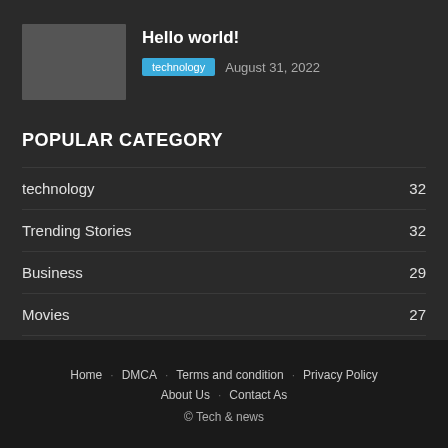[Figure (photo): Gray thumbnail placeholder image for article]
Hello world!
technology   August 31, 2022
POPULAR CATEGORY
technology  32
Trending Stories  32
Business  29
Movies  27
Home  DMCA  Terms and condition  Privacy Policy  About Us  Contact As  © Tech & news